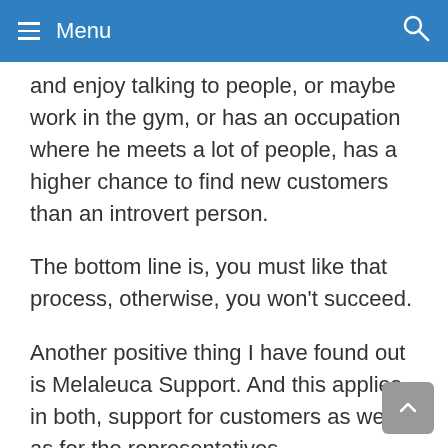Menu
and enjoy talking to people, or maybe work in the gym, or has an occupation where he meets a lot of people, has a higher chance to find new customers than an introvert person.
The bottom line is, you must like that process, otherwise, you won’t succeed.
Another positive thing I have found out is Melaleuca Support. And this applies in both, support for customers as well as for the representatives.